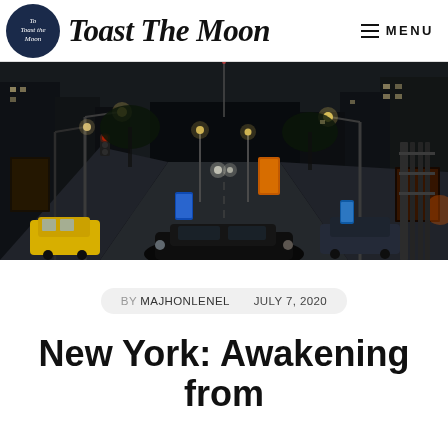Toast The Moon
[Figure (photo): Nighttime street scene in New York City with illuminated street lights, traffic signals, parked cars, and lit storefronts along an urban street]
BY MAJHONLENEL   JULY 7, 2020
New York: Awakening from COVID-19 Slumber